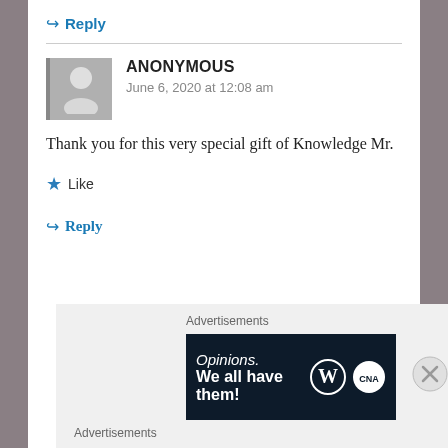↪ Reply
ANONYMOUS
June 6, 2020 at 12:08 am
Thank you for this very special gift of Knowledge Mr.
★ Like
↪ Reply
Advertisements
[Figure (screenshot): Dark advertisement banner reading 'Opinions. We all have them!' with WordPress and another logo on right]
Advertisements